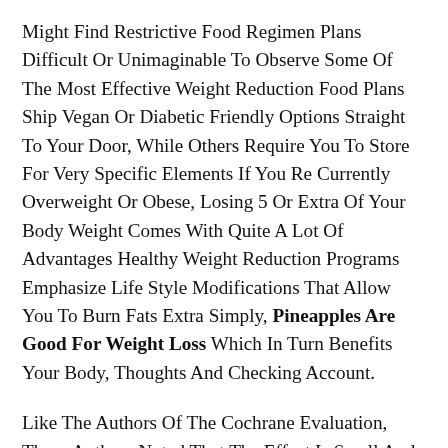Might Find Restrictive Food Regimen Plans Difficult Or Unimaginable To Observe Some Of The Most Effective Weight Reduction Food Plans Ship Vegan Or Diabetic Friendly Options Straight To Your Door, While Others Require You To Store For Very Specific Elements If You Re Currently Overweight Or Obese, Losing 5 Or Extra Of Your Body Weight Comes With Quite A Lot Of Advantages Healthy Weight Reduction Programs Emphasize Life Style Modifications That Allow You To Burn Fats Extra Simply, Pineapples Are Good For Weight Loss Which In Turn Benefits Your Body, Thoughts And Checking Account.
Like The Authors Of The Cochrane Evaluation, These Authors Noted That The Effect Is Small And Of Unsure Medical Relevance Similar Findings Have Been Reported From An Earlier Meta Analysis Of 12 Trials Participants Taking The Natural Supplement Had A Minor Lower...